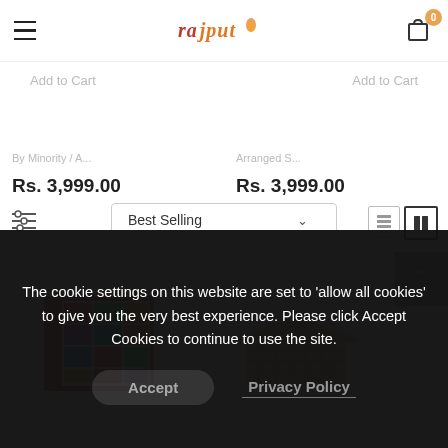Rajput Décor — header with hamburger menu, logo, and cart (0 items)
Add to Cart | Add to Cart
Best Selling (dropdown) — filter and view icons
Rs. 3,999.00    Rs. 3,999.00
[Figure (photo): Colorful patchwork decorative book/box with red frame]
[Figure (photo): Beige/gold wicker weave square decorative box]
The cookie settings on this website are set to 'allow all cookies' to give you the very best experience. Please click Accept Cookies to continue to use the site.
Accept    Privacy Policy